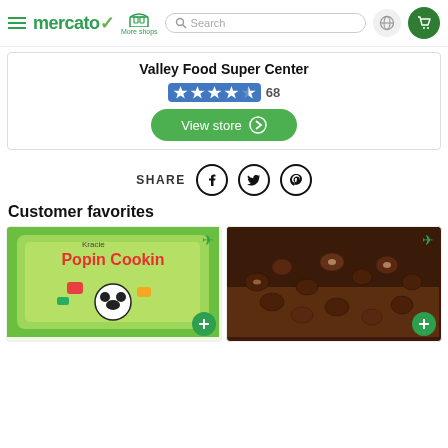[Figure (screenshot): Mercato grocery delivery website header with hamburger menu, mercato logo, More shops link, search bar, globe icon, and cart icon]
Valley Food Super Center
[Figure (other): Star rating showing 4.5 stars with count 68]
[Figure (other): View store button with arrow]
[Figure (other): Share row with SHARE label and social icons for Facebook, Twitter, Pinterest]
Customer favorites
[Figure (photo): Kracie Popin Cookin candy kit product image with green plus add button]
[Figure (photo): Chocolate covered coffee beans or chocolate candies in a bowl with green plus add button]